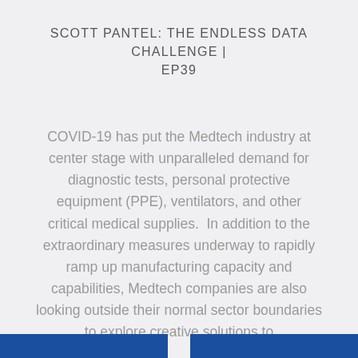SCOTT PANTEL: THE ENDLESS DATA CHALLENGE | EP39
COVID-19 has put the Medtech industry at center stage with unparalleled demand for diagnostic tests, personal protective equipment (PPE), ventilators, and other critical medical supplies.  In addition to the extraordinary measures underway to rapidly ramp up manufacturing capacity and capabilities, Medtech companies are also looking outside their normal sector boundaries to explore creative solutions to